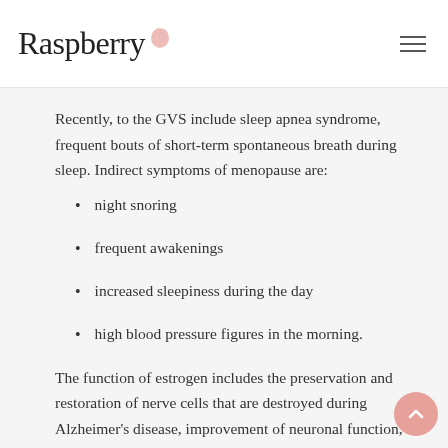Raspberry
Recently, to the GVS include sleep apnea syndrome, frequent bouts of short-term spontaneous breath during sleep. Indirect symptoms of menopause are:
night snoring
frequent awakenings
increased sleepiness during the day
high blood pressure figures in the morning.
The function of estrogen includes the preservation and restoration of nerve cells that are destroyed during Alzheimer's disease, improvement of neuronal function, anti-inflammatory and antioxidant effects.